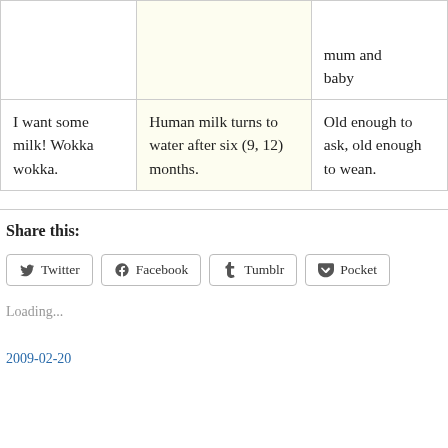|  |  | mum and baby |
| I want some milk! Wokka wokka. | Human milk turns to water after six (9, 12) months. | Old enough to ask, old enough to wean. |
Share this:
Twitter  Facebook  Tumblr  Pocket
Loading...
2009-02-20